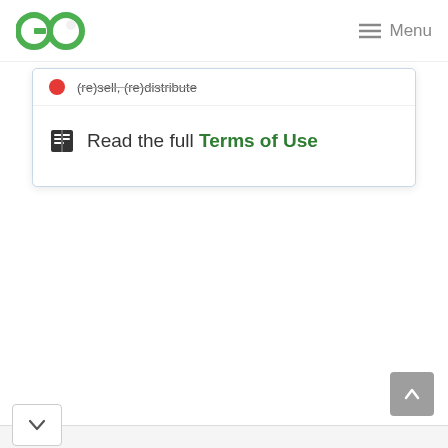GO | Menu
(re)sell, (re)distribute
Read the full Terms of Use